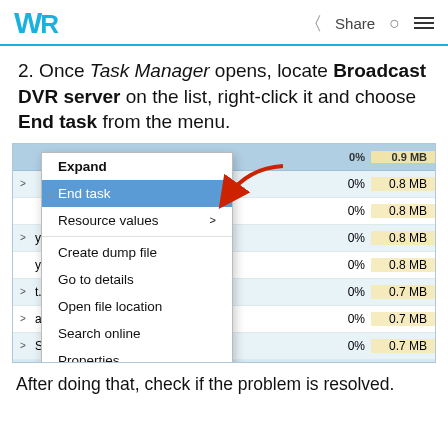WR | Share
2. Once Task Manager opens, locate Broadcast DVR server on the list, right-click it and choose End task from the menu.
[Figure (screenshot): Screenshot of Windows Task Manager with a right-click context menu open showing options: Expand, End task (highlighted in blue with red arrow pointing to it), Resource values, Create dump file, Go to details, Open file location, Search online, Properties. Rows in the task manager show 0% CPU and memory values like 0.9 MB, 0.8 MB, 0.7 MB. Spooler SubSystem App visible at bottom.]
After doing that, check if the problem is resolved.